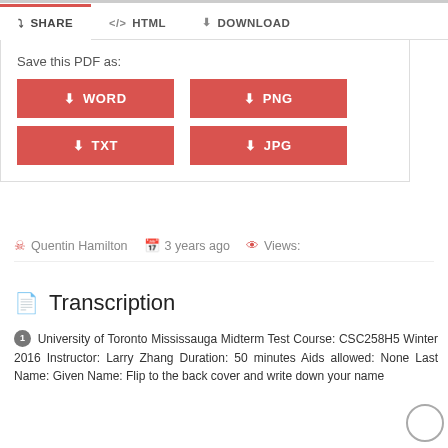[Figure (screenshot): Tab bar with SHARE (active), HTML, and DOWNLOAD tabs]
Save this PDF as:
WORD
PNG
TXT
JPG
Quentin Hamilton   3 years ago   Views:
Transcription
1  University of Toronto Mississauga Midterm Test Course: CSC258H5 Winter 2016 Instructor: Larry Zhang Duration: 50 minutes Aids allowed: None Last Name: Given Name: Flip to the back cover and write down your name